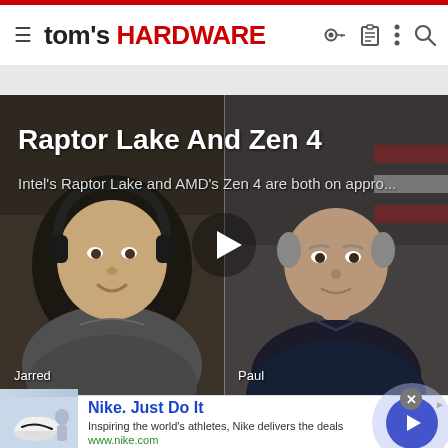tom's HARDWARE
[Figure (screenshot): Video thumbnail showing two people on a split screen. Left person: Jarred, wearing headphones and grey shirt. Right person: Paul, in a dark top. Video title: Raptor Lake And Zen 4. Subtitle: Intel's Raptor Lake and AMD's Zen 4 are both on appro... A white play button triangle is overlaid in the center.]
Raptor Lake And Zen 4
Intel's Raptor Lake and AMD's Zen 4 are both on appro...
[Figure (screenshot): Advertisement banner for Nike. Just Do It. Inspiring the world's athletes, Nike delivers the deals. www.nike.com. Shows a shoe image on the left and a blue arrow button on the right.]